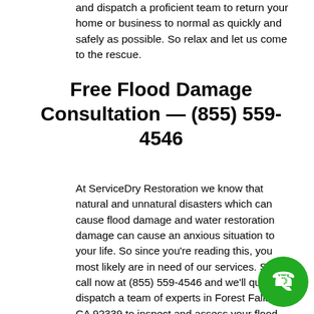and dispatch a proficient team to return your home or business to normal as quickly and safely as possible. So relax and let us come to the rescue.
Free Flood Damage Consultation — (855) 559-4546
At ServiceDry Restoration we know that natural and unnatural disasters which can cause flood damage and water restoration damage can cause an anxious situation to your life. So since you're reading this, you most likely are in need of our services. So call now at (855) 559-4546 and we'll quickly dispatch a team of experts in Forest Falls CA 92339 to inspect and assess your flood damage and get started with professional clean-up right away.